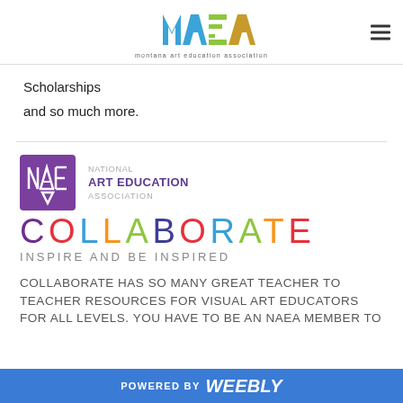Montana Art Education Association (MAEA) logo and navigation
Scholarships
and so much more.
[Figure (logo): National Art Education Association logo with purple square, geometric AE letterform, and text NATIONAL ART EDUCATION ASSOCIATION. Below: COLLABORATE in multicolor letters, INSPIRE AND BE INSPIRED subtitle.]
COLLABORATE HAS SO MANY GREAT TEACHER TO TEACHER RESOURCES FOR VISUAL ART EDUCATORS FOR ALL LEVELS. YOU HAVE TO BE AN NAEA MEMBER TO
POWERED BY weebly